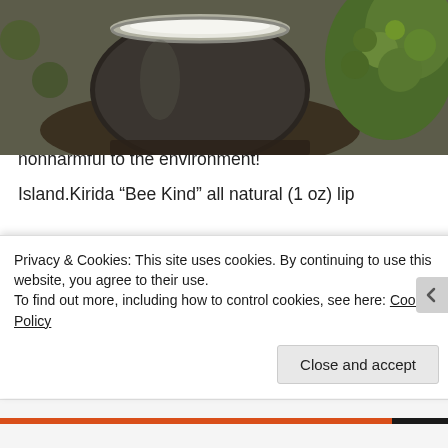[Figure (photo): A top-down photo of an open jar/tin of white product (likely lip balm) surrounded by dark metallic container and green succulent plants in background]
Commercial lip sticks and chap sticks can contain harmful chemicals, not to mention many beauty products are tested on animals as well. Take a chance and make a change by creating a beautiful, natural way of living by using natural products nonharmful to the environment!
Island.Kirida “Bee Kind” all natural (1 oz) lip
Privacy & Cookies: This site uses cookies. By continuing to use this website, you agree to their use.
To find out more, including how to control cookies, see here: Cookie Policy
Close and accept